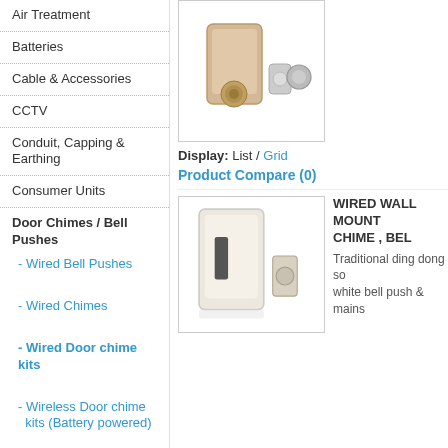Air Treatment
Batteries
Cable & Accessories
CCTV
Conduit, Capping & Earthing
Consumer Units
Door Chimes / Bell Pushes
- Wired Bell Pushes
- Wired Chimes
- Wired Door chime kits
- Wireless Door chime kits (Battery powered)
- Plug In Wireless Door chimes
Door Entry
Electric Showers
Extension reels & Surge Protection
Fire, House and Security Alarm Systems
[Figure (photo): Doorbell chime kit product image showing a gold/champagne wall unit and small button]
Display: List / Grid
Product Compare (0)
[Figure (photo): Wired wall mount chime product image showing white/champagne unit and bell push]
WIRED WALL MOUNT CHIME , BEL
Traditional ding dong so white bell push & mains